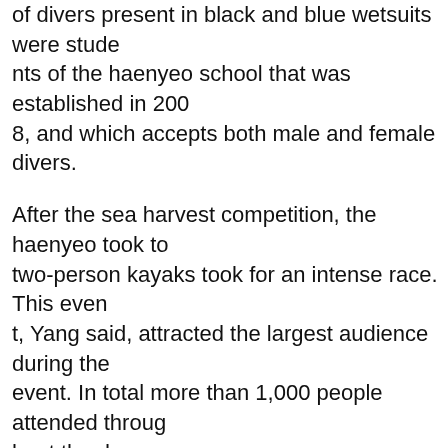of divers present in black and blue wetsuits were students of the haenyeo school that was established in 2008, and which accepts both male and female divers.
After the sea harvest competition, the haenyeo took to two-person kayaks took for an intense race. This event, Yang said, attracted the largest audience during the event. In total more than 1,000 people attended throughout the day.
The competition changes locale ever year and the next will take place in Seogwipo. Yang hopes to include an event for male divers in next year’s program. “It will be funny,” he said.
A retired haenyeo at the event, who declined to give her name, spoke for many of those present. “I came her